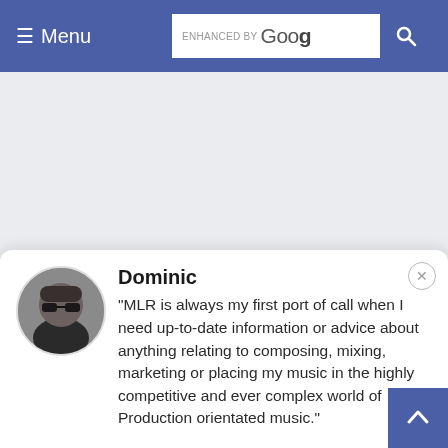≡ Menu   ENHANCED BY Goog [search]
[Figure (screenshot): Grey empty content area, placeholder for advertisement or content]
Dominic
"MLR is always my first port of call when I need up-to-date information or advice about anything relating to composing, mixing, marketing or placing my music in the highly competitive and ever complex world of Production orientated music."